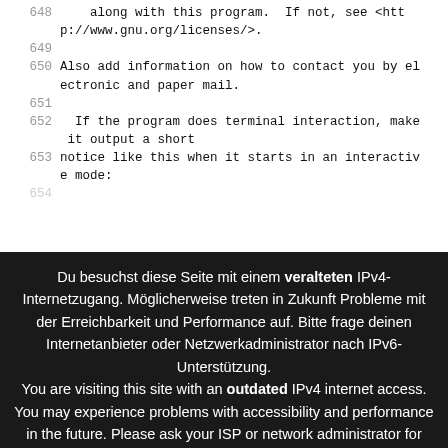648     along with this program.  If not, see <http://www.gnu.org/licenses/>.
649
650  Also add information on how to contact you by electronic and paper mail.
651
652    If the program does terminal interaction, make it output a short
653  notice like this when it starts in an interactive mode:
654
Du besuchst diese Seite mit einem veralteten IPv4-Internetzugang. Möglicherweise treten in Zukunft Probleme mit der Erreichbarkeit und Performance auf. Bitte frage deinen Internetanbieter oder Netzwerkadministrator nach IPv6-Unterstützung.
You are visiting this site with an outdated IPv4 internet access. You may experience problems with accessibility and performance in the future. Please ask your ISP or network administrator for IPv6 support.
Weitere Infos | More Information
Klicke zum schließen | Click to close